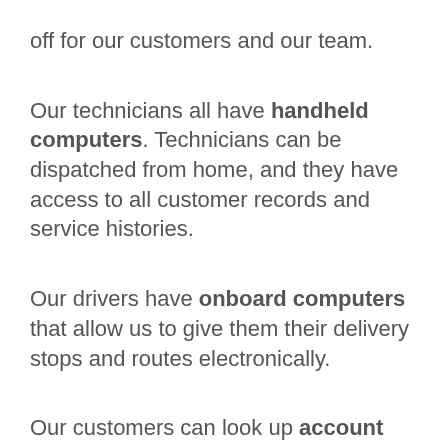off for our customers and our team.
Our technicians all have handheld computers. Technicians can be dispatched from home, and they have access to all customer records and service histories.
Our drivers have onboard computers that allow us to give them their delivery stops and routes electronically.
Our customers can look up account information online, pay bills with credit cards or a bank draft, choose paperless billing, and more.
Our fuel storage terminal gives us unequaled access to supply in the event of shortages.
Feel confident that we are better positioned to